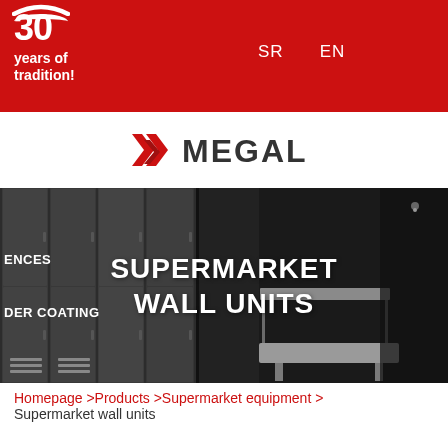30 years of tradition! SR EN
[Figure (logo): MEGAL company logo with stylized red M icon and MEGAL text]
[Figure (photo): Hero image showing supermarket wall units / metal lockers in dark grey, with overlay text SUPERMARKET WALL UNITS and partial left labels ENCES and DER COATING]
Homepage >Products >Supermarket equipment > Supermarket wall units